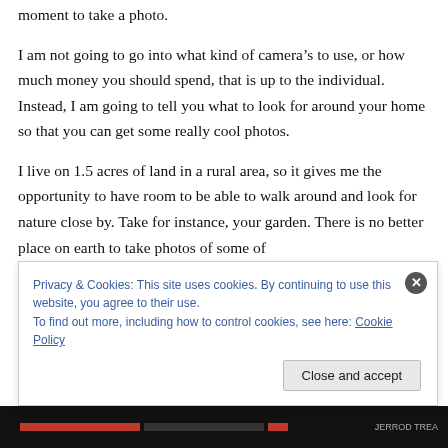moment to take a photo.
I am not going to go into what kind of camera’s to use, or how much money you should spend, that is up to the individual. Instead, I am going to tell you what to look for around your home so that you can get some really cool photos.
I live on 1.5 acres of land in a rural area, so it gives me the opportunity to have room to be able to walk around and look for nature close by. Take for instance, your garden. There is no better place on earth to take photos of some of
Privacy & Cookies: This site uses cookies. By continuing to use this website, you agree to their use.
To find out more, including how to control cookies, see here: Cookie Policy
Close and accept